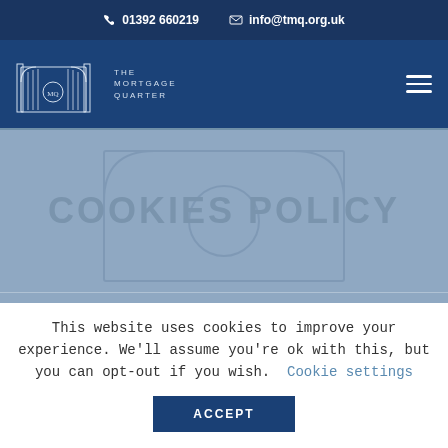📞 01392 660219  ✉ info@tmq.org.uk
[Figure (logo): The Mortgage Quarter logo with gate illustration and text: THE MORTGAGE QUARTER]
COOKIES POLICY
This website uses cookies to improve your experience. We'll assume you're ok with this, but you can opt-out if you wish.  Cookie settings
ACCEPT